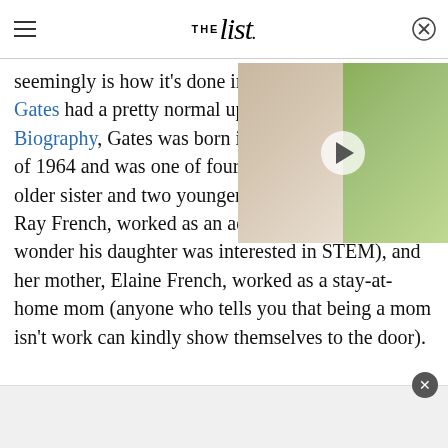THE list
seemingly is how it's done in Gates had a pretty normal up Biography, Gates was born in of 1964 and was one of four c older sister and two younger brothers. Her father, Ray French, worked as an aerospace engineer (no wonder his daughter was interested in STEM), and her mother, Elaine French, worked as a stay-at-home mom (anyone who tells you that being a mom isn't work can kindly show themselves to the door).
[Figure (photo): Video thumbnail showing two women - one in white top with dark hair, one wearing green hat - with a play button overlay]
Advertisement close button and ad bar at bottom